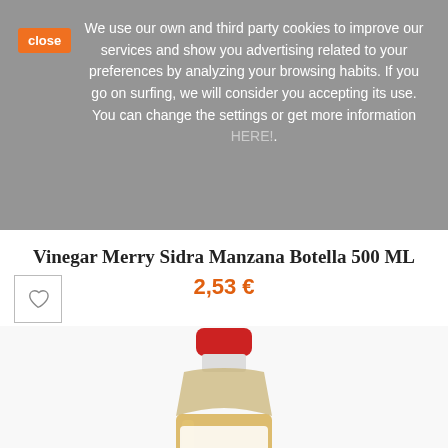We use our own and third party cookies to improve our services and show you advertising related to your preferences by analyzing your browsing habits. If you go on surfing, we will consider you accepting its use. You can change the settings or get more information HERE!.
Vinegar Merry Sidra Manzana Botella 500 ML
2,53 €
[Figure (photo): A 500ml bottle of Merry Sidra Manzana apple cider vinegar with a red cap and clear/amber liquid, photographed on white background]